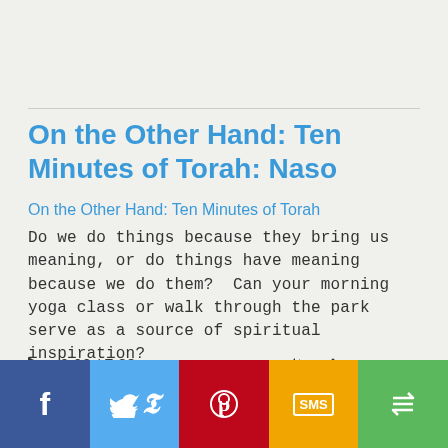On the Other Hand: Ten Minutes of Torah: Naso
On the Other Hand: Ten Minutes of Torah
Do we do things because they bring us meaning, or do things have meaning because we do them?  Can your morning yoga class or walk through the park serve as a source of spiritual inspiration?
[Figure (other): Audio player showing 0:00 / 7:38 with play button, progress bar, volume icon, and options icon]
[Figure (infographic): Social share bar with Facebook (blue), Twitter (light blue), Pinterest (red), SMS (yellow/orange), and share (green) buttons]